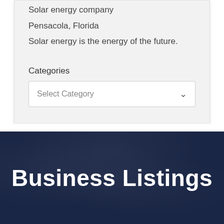Solar energy company
Pensacola, Florida
Solar energy is the energy of the future.
Categories
[Figure (screenshot): A dropdown select box labeled 'Select Category' with a chevron/arrow on the right side]
Business Listings